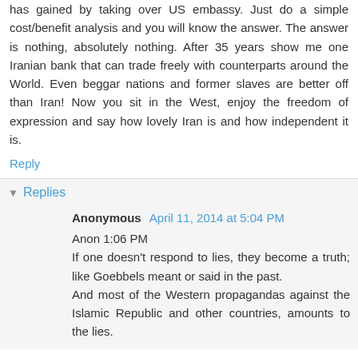has gained by taking over US embassy. Just do a simple cost/benefit analysis and you will know the answer. The answer is nothing, absolutely nothing. After 35 years show me one Iranian bank that can trade freely with counterparts around the World. Even beggar nations and former slaves are better off than Iran! Now you sit in the West, enjoy the freedom of expression and say how lovely Iran is and how independent it is.
Reply
Replies
Anonymous April 11, 2014 at 5:04 PM
Anon 1:06 PM
If one doesn't respond to lies, they become a truth; like Goebbels meant or said in the past.
And most of the Western propagandas against the Islamic Republic and other countries, amounts to the lies.